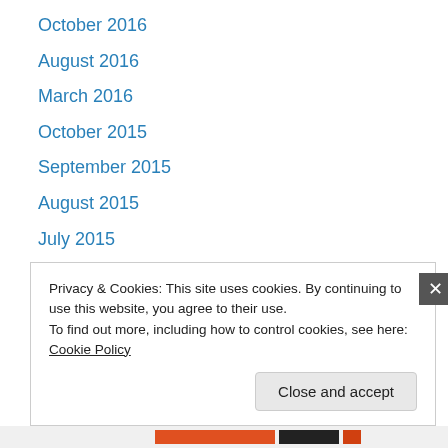October 2016
August 2016
March 2016
October 2015
September 2015
August 2015
July 2015
June 2015
May 2015
April 2015
March 2015
January 2015
November 2014
Privacy & Cookies: This site uses cookies. By continuing to use this website, you agree to their use. To find out more, including how to control cookies, see here: Cookie Policy
Close and accept